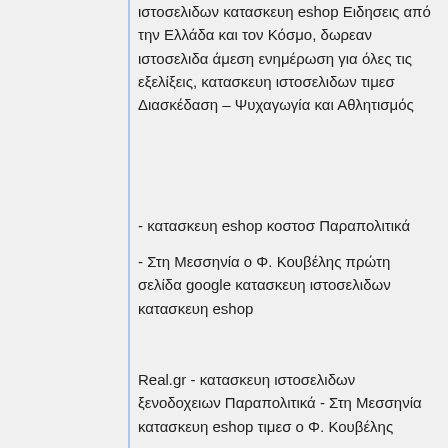ιστοσελιδων κατασκευη eshop Ειδησεις από την Ελλάδα και τον Κόσμο, δωρεαν ιστοσελιδα άμεση ενημέρωση για όλες τις εξελίξεις, κατασκευη ιστοσελιδων τιμεσ Διασκέδαση – Ψυχαγωγία και Αθλητισμός
- κατασκευη eshop κοστοσ Παραπολιτικά
- Στη Μεσσηνία ο Φ. Κουβέλης πρώτη σελίδα google κατασκευη ιστοσελιδων κατασκευη eshop
Real.gr - κατασκευη ιστοσελιδων ξενοδοχειων Παραπολιτικά - Στη Μεσσηνία κατασκευη eshop τιμεσ ο Φ. Κουβέλης
Ελλάδα</a> και τον Κόσμο, άμεση ενημέρωση για όλες τις εξελίξεις